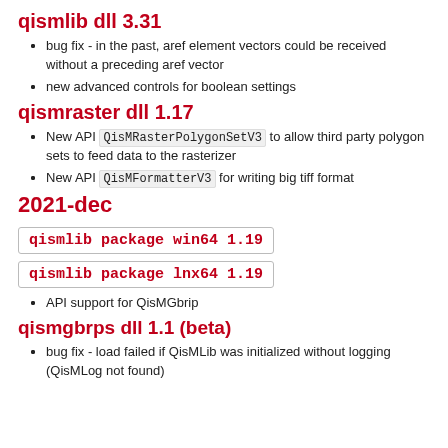qismlib dll 3.31
bug fix - in the past, aref element vectors could be received without a preceding aref vector
new advanced controls for boolean settings
qismraster dll 1.17
New API QisMRasterPolygonSetV3 to allow third party polygon sets to feed data to the rasterizer
New API QisMFormatterV3 for writing big tiff format
2021-dec
qismlib package win64 1.19
qismlib package lnx64 1.19
API support for QisMGbrip
qismgbrps dll 1.1 (beta)
bug fix - load failed if QisMLib was initialized without logging (QisMLog not found)